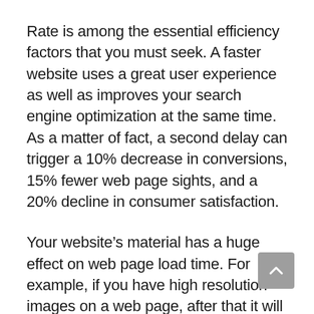Rate is among the essential efficiency factors that you must seek. A faster website uses a great user experience as well as improves your search engine optimization at the same time. As a matter of fact, a second delay can trigger a 10% decrease in conversions, 15% fewer web page sights, and a 20% decline in consumer satisfaction.
Your website’s material has a huge effect on web page load time. For example, if you have high resolution images on a web page, after that it will considerably enhance the total web page lots time. This implies that rate examination outcomes might not precisely show exactly how fast your hosting server really is.